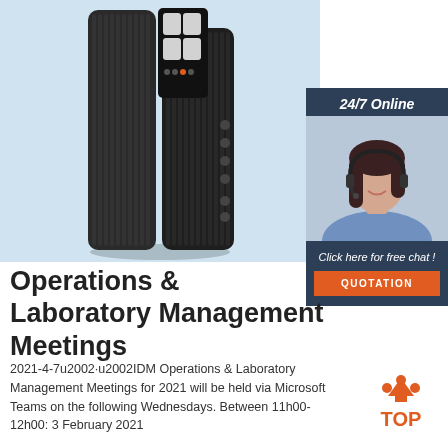[Figure (photo): A black electronic device (portable power bank or similar device) with digital display and buttons, on a light blue background]
[Figure (infographic): 24/7 Online chat advertisement sidebar with a woman wearing a headset, dark blue background, orange QUOTATION button]
Operations & Laboratory Management Meetings
2021-4-7u2002·u2002IDM Operations & Laboratory Management Meetings for 2021 will be held via Microsoft Teams on the following Wednesdays. Between 11h00-12h00: 3 February 2021
[Figure (logo): TOP logo with orange arrows pointing upward]